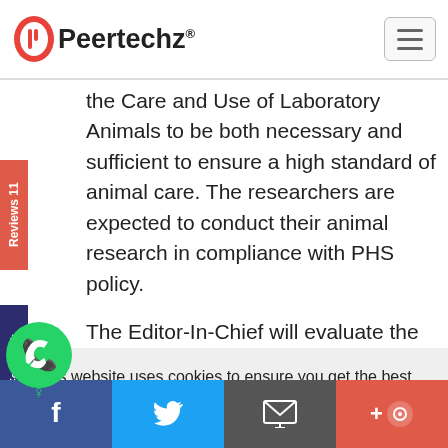Peertechz
the Care and Use of Laboratory Animals to be both necessary and sufficient to ensure a high standard of animal care. The researchers are expected to conduct their animal research in compliance with PHS policy. The Editor-In-Chief will evaluate the submitted manuscripts on animal well-being issues and if the research found to be inconsistent with commonly
This website uses cookies to ensure you get the best experience on our website. Learn more
Yes, I understand